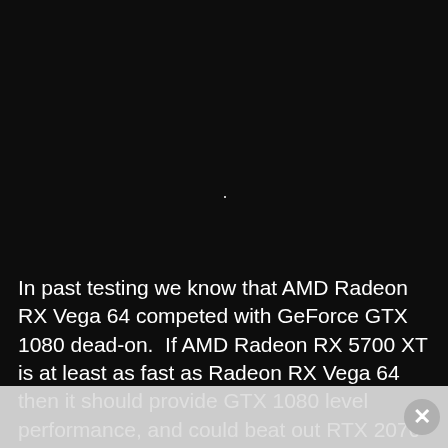[Figure (photo): Dark/black background image taking up the top portion of the page, nearly entirely black with a faint white dot near the center.]
In past testing we know that AMD Radeon RX Vega 64 competed with GeForce GTX 1080 dead-on.  If AMD Radeon RX 5700 XT is at least as fast as Radeon RX Vega 64 then it should provide GTX 1080 level performance, and could beat out RTX 2070 performance.  However, it doesn't quite sound